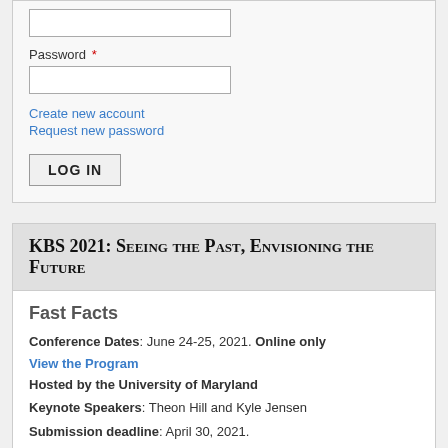Password *
Create new account
Request new password
LOG IN
KBS 2021: Seeing the Past, Envisioning the Future
Fast Facts
Conference Dates: June 24-25, 2021. Online only
View the Program
Hosted by the University of Maryland
Keynote Speakers: Theon Hill and Kyle Jensen
Submission deadline: April 30, 2021.
Watch the Asynchronous Presentations
Conference Organizer: Damien Pfister, University of Maryland,